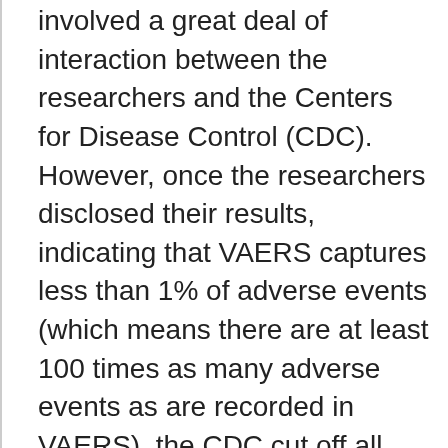involved a great deal of interaction between the researchers and the Centers for Disease Control (CDC). However, once the researchers disclosed their results, indicating that VAERS captures less than 1% of adverse events (which means there are at least 100 times as many adverse events as are recorded in VAERS), the CDC cut off all communication. Even if there weren't many other reasons to question vaccine safety, this study alone would provide a sound basis for anyone to refuse vaccines for themselves or their children (and actually, people should be free to do as they wish with their bodies, and parents should be free to choose or reject medical treatments for their children, without having to justify themselves to authorities).
- The herd immunity concept is only